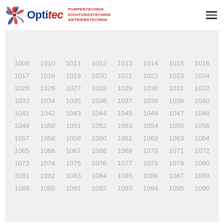[Figure (logo): Optitec logo with gear/fan icon, company name in blue and red italic, taglines: PUMPENTECHNIK, DICHTUNGSTECHNIK, ANTRIEBSTECHNIK]
| 1009 | 1010 | 1011 | 1012 | 1013 | 1014 | 1015 | 1016 |
| 1017 | 1018 | 1019 | 1020 | 1021 | 1022 | 1023 | 1024 |
| 1025 | 1026 | 1027 | 1028 | 1029 | 1030 | 1031 | 1032 |
| 1033 | 1034 | 1035 | 1036 | 1037 | 1038 | 1039 | 1040 |
| 1041 | 1042 | 1043 | 1044 | 1045 | 1046 | 1047 | 1048 |
| 1049 | 1050 | 1051 | 1052 | 1053 | 1054 | 1055 | 1056 |
| 1057 | 1058 | 1059 | 1060 | 1061 | 1062 | 1063 | 1064 |
| 1065 | 1066 | 1067 | 1068 | 1069 | 1070 | 1071 | 1072 |
| 1073 | 1074 | 1075 | 1076 | 1077 | 1078 | 1079 | 1080 |
| 1081 | 1082 | 1083 | 1084 | 1085 | 1086 | 1087 | 1088 |
| 1089 | 1090 | 1091 | 1092 | 1093 | 1094 | 1095 | 1096 |